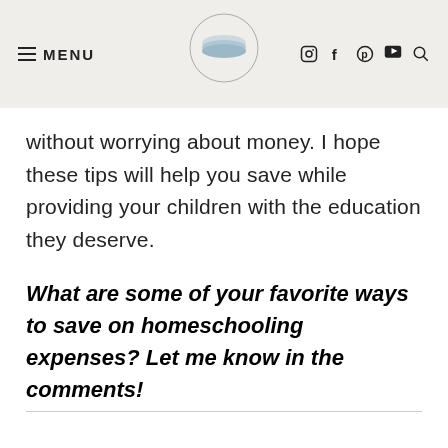MENU [logo] social icons
without worrying about money. I hope these tips will help you save while providing your children with the education they deserve.
What are some of your favorite ways to save on homeschooling expenses? Let me know in the comments!